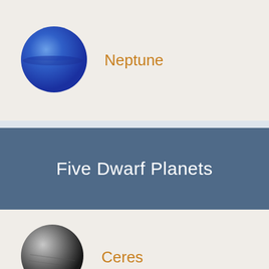[Figure (illustration): Blue sphere representing the planet Neptune]
Neptune
Five Dwarf Planets
[Figure (illustration): Grayscale sphere representing the dwarf planet Ceres]
Ceres
[Figure (illustration): Brownish sphere representing the dwarf planet Pluto]
Pluto